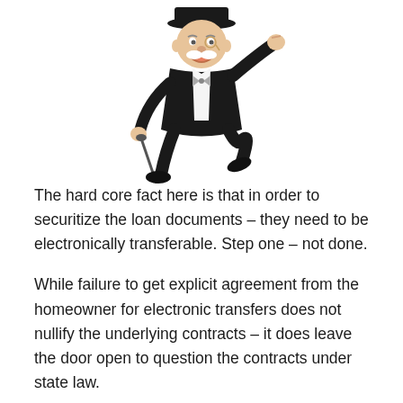[Figure (illustration): Illustration of the Monopoly Man (Rich Uncle Pennybags) character in a black tuxedo, top hat, white mustache, holding a cane, depicted in a jaunty leaping pose with one arm raised.]
The hard core fact here is that in order to securitize the loan documents – they need to be electronically transferable. Step one – not done.
While failure to get explicit agreement from the homeowner for electronic transfers does not nullify the underlying contracts – it does leave the door open to question the contracts under state law.